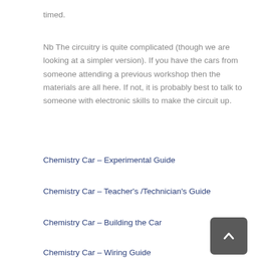timed.
Nb The circuitry is quite complicated (though we are looking at a simpler version). If you have the cars from someone attending a previous workshop then the materials are all here. If not, it is probably best to talk to someone with electronic skills to make the circuit up.
Chemistry Car – Experimental Guide
Chemistry Car – Teacher's /Technician's Guide
Chemistry Car – Building the Car
Chemistry Car – Wiring Guide
Chemistry Car – Risk Assessment